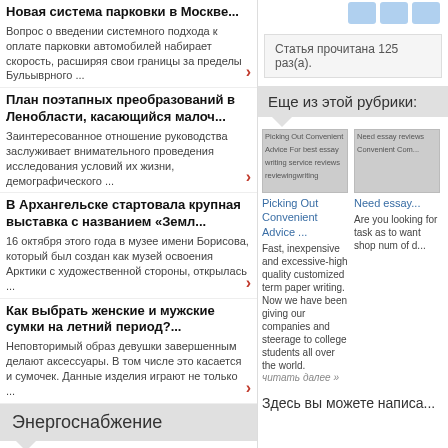Новая система парковки в Москве...
Вопрос о введении системного подхода к оплате парковки автомобилей набирает скорость, расширяя свои границы за пределы Бульыврного ...
План поэтапных преобразований в Ленобласти, касающийся малоч...
Заинтересованное отношение руководства заслуживает внимательного проведения исследования условий их жизни, демографического ...
В Архангельске стартовала крупная выставка с названием «Земл...
16 октября этого года в музее имени Борисова, который был создан как музей освоения Арктики с художественной стороны, открылась ...
Как выбрать женские и мужские сумки на летний период?...
Неповторимый образ девушки завершенным делают аксессуары. В том числе это касается и сумочек. Данные изделия играют не только ...
Энергоснабжение
По мнению Андрея Петрова, депутата Смоленской
Статья прочитана 125 раз(а).
Еще из этой рубрики:
[Figure (screenshot): Image placeholder for Picking Out Convenient Advice For best essay writing service reviews reviewingwriting]
Picking Out Convenient Advice ...
Fast, inexpensive and excessive-high quality customized term paper writing. Now we have been giving our companies and steerage to college students all over the world...
читать далее »
[Figure (screenshot): Image placeholder for Need essay reviews Convenient ...]
Need essay...
Are you looking for task as to want shop num of d...
Здесь вы можете написа...